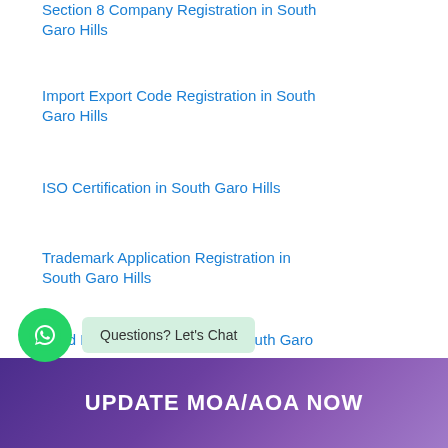Section 8 Company Registration in South Garo Hills
Import Export Code Registration in South Garo Hills
ISO Certification in South Garo Hills
Trademark Application Registration in South Garo Hills
Food License Registration in South Garo Hills
Questions? Let's Chat
UPDATE MOA/AOA NOW